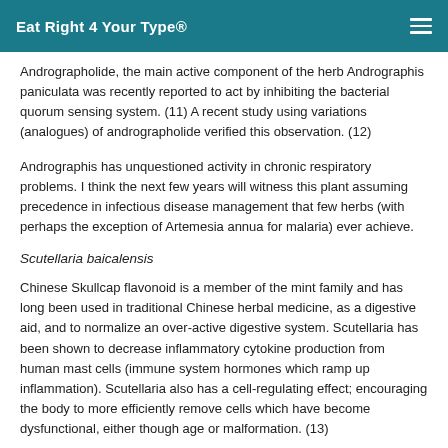Eat Right 4 Your Type®
Andrographolide, the main active component of the herb Andrographis paniculata was recently reported to act by inhibiting the bacterial quorum sensing system. (11) A recent study using variations (analogues) of andrographolide verified this observation. (12)
Andrographis has unquestioned activity in chronic respiratory problems. I think the next few years will witness this plant assuming precedence in infectious disease management that few herbs (with perhaps the exception of Artemesia annua for malaria) ever achieve.
Scutellaria baicalensis
Chinese Skullcap flavonoid is a member of the mint family and has long been used in traditional Chinese herbal medicine, as a digestive aid, and to normalize an over-active digestive system. Scutellaria has been shown to decrease inflammatory cytokine production from human mast cells (immune system hormones which ramp up inflammation). Scutellaria also has a cell-regulating effect; encouraging the body to more efficiently remove cells which have become dysfunctional, either though age or malformation. (13)